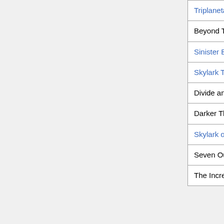| Title | Author | Year |
| --- | --- | --- |
| Triplanetary | Edward E. Smith, Ph.D. | 1948 |
| Beyond This Horizon | Robert A. Heinlein | 1948 |
| Sinister Barrier | Eric Frank Russell | 1948 |
| Skylark Three | Edward E. Smith, Ph.D. | 1948 |
| Divide and Rule & The Stolen Dormouse | L. Sprague de Camp | 1948 |
| Darker Than You Think | Jack Williamson | 1949 |
| Skylark of Valeron | Edward E. Smith, Ph.D. | 1949 |
| Seven Out of Time | Arthur Leo Zagat | 1949 |
| The Incredible | John W. | 1949 |